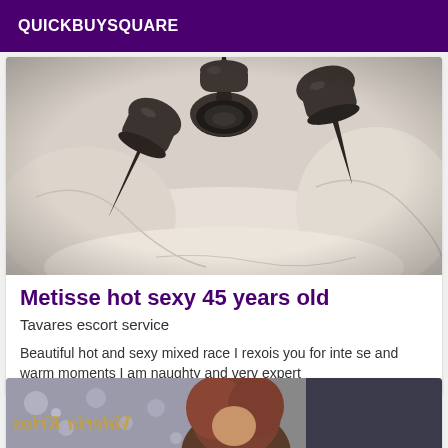QUICKBUYSQUARE
[Figure (photo): Close-up photo of high-heel shoes on a white bed sheet, viewed from below showing the sole of the heel]
Metisse hot sexy 45 years old
Tavares escort service
Beautiful hot and sexy mixed race I rexois you for inte se and warm moments I am naughty and very expert
[Figure (photo): Partial photo of a woman with red/brown hair, with decorative bokeh lights in background and cursive watermark text]